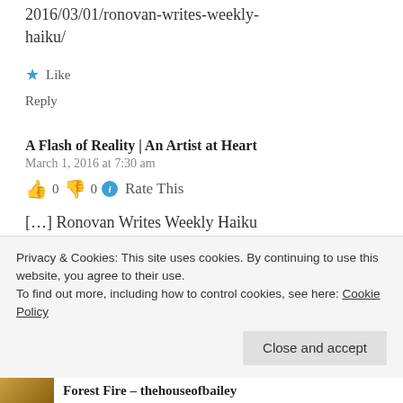2016/03/01/ronovan-writes-weekly-haiku/
Like
Reply
A Flash of Reality | An Artist at Heart
March 1, 2016 at 7:30 am
👍 0 👎 0 ℹ Rate This
[…] Ronovan Writes Weekly Haiku Challenge […]
Privacy & Cookies: This site uses cookies. By continuing to use this website, you agree to their use. To find out more, including how to control cookies, see here: Cookie Policy
Close and accept
Forest Fire – thehouseofbailey